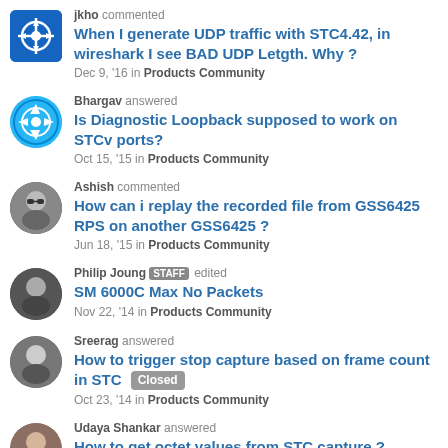jkho commented — When I generate UDP traffic with STC4.42, in wireshark I see BAD UDP Letgth. Why ? — Dec 9, '16 in Products Community
Bhargav answered — Is Diagnostic Loopback supposed to work on STCv ports? — Oct 15, '15 in Products Community
Ashish commented — How can i replay the recorded file from GSS6425 RPS on another GSS6425 ? — Jun 18, '15 in Products Community
Philip Joung STAFF edited — SM 6000C Max No Packets — Nov 22, '14 in Products Community
Sreerag answered — How to trigger stop capture based on frame count in STC [Closed] — Oct 23, '14 in Products Community
Udaya Shankar answered — How to get octet values from STC capture ?